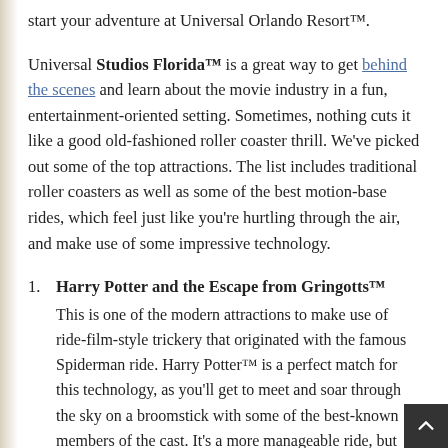start your adventure at Universal Orlando Resort™.
Universal Studios Florida™ is a great way to get behind the scenes and learn about the movie industry in a fun, entertainment-oriented setting. Sometimes, nothing cuts it like a good old-fashioned roller coaster thrill. We've picked out some of the top attractions. The list includes traditional roller coasters as well as some of the best motion-base rides, which feel just like you're hurtling through the air, and make use of some impressive technology.
Harry Potter and the Escape from Gringotts™
This is one of the modern attractions to make use of ride-film-style trickery that originated with the famous Spiderman ride. Harry Potter™ is a perfect match for this technology, as you'll get to meet and soar through the sky on a broomstick with some of the best-known members of the cast. It's a more manageable ride, but you'll certainly feel like you've taken a trip through Hogwarts™ and beyond. The production values are so high you'll forget where you are completely as the motion-base shifts you in every direction to complete the illusion.